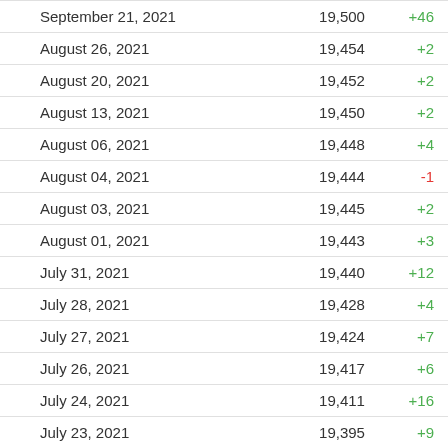| Date | Count | Change |
| --- | --- | --- |
| September 21, 2021 | 19,500 | +46 |
| August 26, 2021 | 19,454 | +2 |
| August 20, 2021 | 19,452 | +2 |
| August 13, 2021 | 19,450 | +2 |
| August 06, 2021 | 19,448 | +4 |
| August 04, 2021 | 19,444 | -1 |
| August 03, 2021 | 19,445 | +2 |
| August 01, 2021 | 19,443 | +3 |
| July 31, 2021 | 19,440 | +12 |
| July 28, 2021 | 19,428 | +4 |
| July 27, 2021 | 19,424 | +7 |
| July 26, 2021 | 19,417 | +6 |
| July 24, 2021 | 19,411 | +16 |
| July 23, 2021 | 19,395 | +9 |